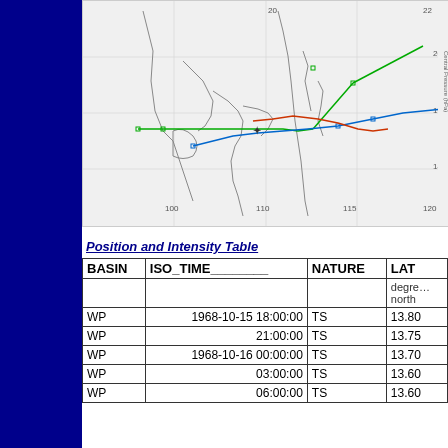[Figure (map): Tropical storm track map showing Western Pacific region with colored track lines (green, blue, red) overlaid on a coastline map with grid lines and coordinate labels.]
Position and Intensity Table
| BASIN | ISO_TIME________ | NATURE | LAT |
| --- | --- | --- | --- |
|  |  |  | degrees north |
| WP | 1968-10-15 18:00:00 | TS | 13.80 |
| WP | 21:00:00 | TS | 13.75 |
| WP | 1968-10-16 00:00:00 | TS | 13.70 |
| WP | 03:00:00 | TS | 13.60 |
| WP | 06:00:00 | TS | 13.60 |